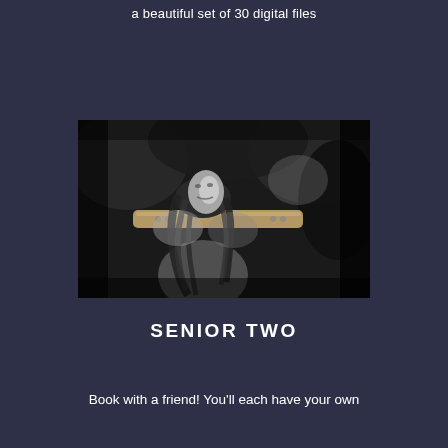a beautiful set of 30 digital files
[Figure (photo): Black and white photo of a young woman with curly hair holding a longboard/skateboard across her shoulders, looking to the side, with blurred outdoor background]
SENIOR TWO
Book with a friend!  You'll each have your own